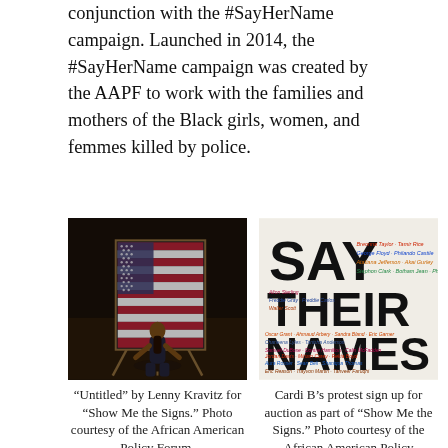conjunction with the #SayHerName campaign. Launched in 2014, the #SayHerName campaign was created by the AAPF to work with the families and mothers of the Black girls, women, and femmes killed by police.
[Figure (photo): Black and white/dark photo of a person kneeling in front of an American flag painting on an easel in a dimly lit room]
“Untitled” by Lenny Kravitz for “Show Me the Signs.” Photo courtesy of the African American Policy Forum.
[Figure (photo): White protest sign reading 'SAY THEIR NAMES' with many names written in colorful text around the large bold words]
Cardi B’s protest sign up for auction as part of “Show Me the Signs.” Photo courtesy of the African American Policy